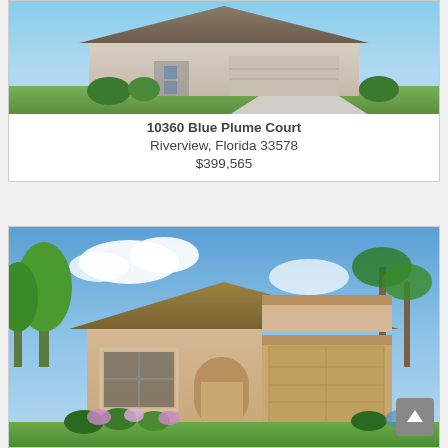[Figure (photo): Exterior rendering of a house at 10360 Blue Plume Court, showing a single-story home with a two-car garage, driveway, and landscaping]
10360 Blue Plume Court
Riverview, Florida 33578
$399,565
[Figure (photo): Exterior rendering of a Mediterranean-style single-story home at 10386 Shady Preserve Drive, featuring a tile roof, stucco exterior, two-car garage, arched entryway, and lush landscaping with palm trees and flowering shrubs]
10386 Shady Preserve Drive
Riverview, Florida 33579